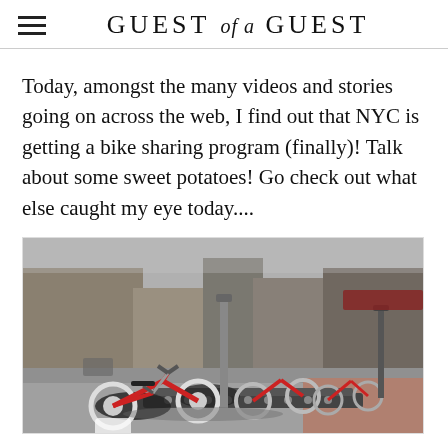GUEST of a GUEST
Today, amongst the many videos and stories going on across the web, I find out that NYC is getting a bike sharing program (finally)! Talk about some sweet potatoes! Go check out what else caught my eye today....
[Figure (photo): Row of red and white shared bicycles in docking station on a city sidewalk, with urban street scene in background.]